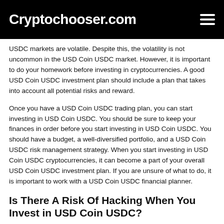Cryptochooser.com
USDC markets are volatile. Despite this, the volatility is not uncommon in the USD Coin USDC market. However, it is important to do your homework before investing in cryptocurrencies. A good USD Coin USDC investment plan should include a plan that takes into account all potential risks and reward.
Once you have a USD Coin USDC trading plan, you can start investing in USD Coin USDC. You should be sure to keep your finances in order before you start investing in USD Coin USDC. You should have a budget, a well-diversified portfolio, and a USD Coin USDC risk management strategy. When you start investing in USD Coin USDC cryptocurrencies, it can become a part of your overall USD Coin USDC investment plan. If you are unsure of what to do, it is important to work with a USD Coin USDC financial planner.
Is There A Risk Of Hacking When You Invest in USD Coin USDC?
USD Coin USDC is a risky investment, but it is not nearly as bad as